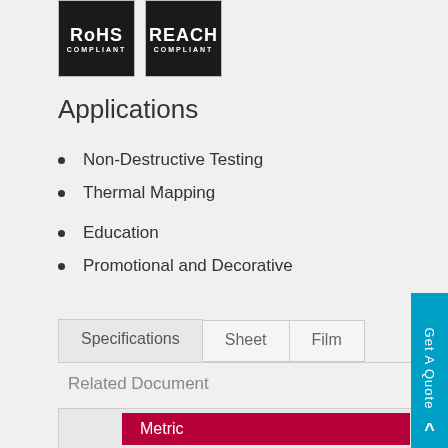[Figure (logo): RoHS Compliant badge - black background with white text]
[Figure (logo): REACH Compliant badge - black background with white text]
Applications
Non-Destructive Testing
Thermal Mapping
Education
Promotional and Decorative
Specifications  Sheet  Film
Related Document
Metric